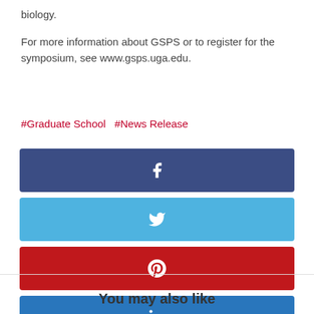biology.
For more information about GSPS or to register for the symposium, see www.gsps.uga.edu.
#Graduate School  #News Release
[Figure (infographic): Four social media share buttons: Facebook (dark blue), Twitter (light blue), Pinterest (red), LinkedIn (blue), each as a full-width colored bar with the respective social media icon centered in white.]
You may also like